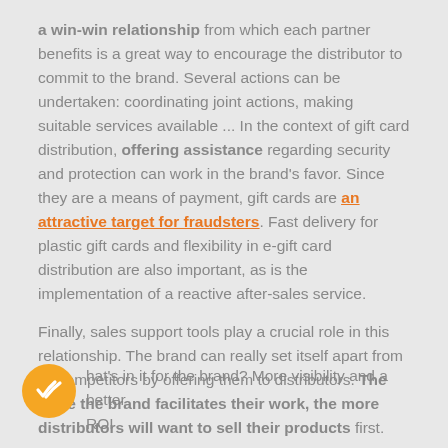a win-win relationship from which each partner benefits is a great way to encourage the distributor to commit to the brand. Several actions can be undertaken: coordinating joint actions, making suitable services available ... In the context of gift card distribution, offering assistance regarding security and protection can work in the brand's favor. Since they are a means of payment, gift cards are an attractive target for fraudsters. Fast delivery for plastic gift cards and flexibility in e-gift card distribution are also important, as is the implementation of a reactive after-sales service.
Finally, sales support tools play a crucial role in this relationship. The brand can really set itself apart from its competitors by offering them to distributors. The more the brand facilitates their work, the more distributors will want to sell their products first.
hat's in it for the brand? More visibility and a better ROI